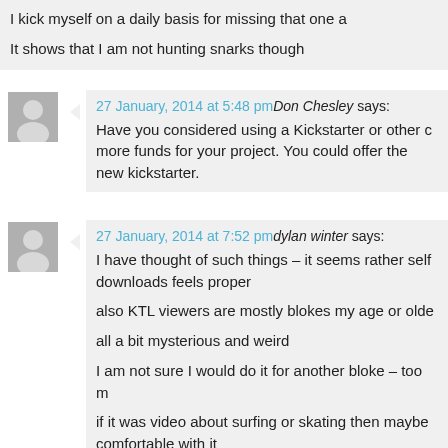I kick myself on a daily basis for missing that one a
It shows that I am not hunting snarks though
27 January, 2014 at 5:48 pm Don Chesley says:
Have you considered using a Kickstarter or other c more funds for your project. You could offer the new kickstarter.
27 January, 2014 at 7:52 pm dylan winter says:
I have thought of such things – it seems rather self downloads feels proper

also KTL viewers are mostly blokes my age or olde

all a bit mysterious and weird

I am not sure I would do it for another bloke – too m

if it was video about surfing or skating then maybe comfortable with it